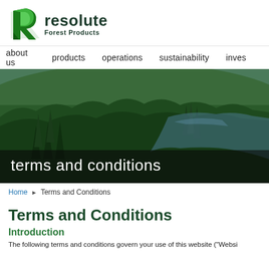[Figure (logo): Resolute Forest Products logo — green stylized R leaf icon with 'resolute' in dark green bold text and 'Forest Products' below]
about us   products   operations   sustainability   inves
[Figure (photo): Aerial photo of a dense green forest with a lake/river reflecting the trees, used as a hero banner]
terms and conditions
Home ► Terms and Conditions
Terms and Conditions
Introduction
The following terms and conditions govern your use of this website ("Websi